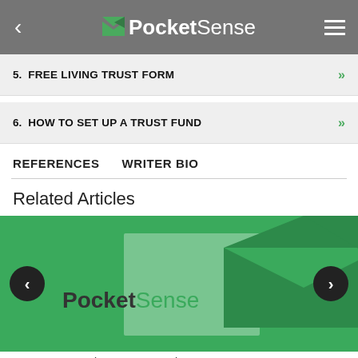PocketSense
5. FREE LIVING TRUST FORM
6. HOW TO SET UP A TRUST FUND
REFERENCES   WRITER BIO
Related Articles
[Figure (screenshot): PocketSense branded article card with carousel navigation arrows and the article title 'How Can I Receive My Trust Early?']
How Can I Receive My Trust Early?